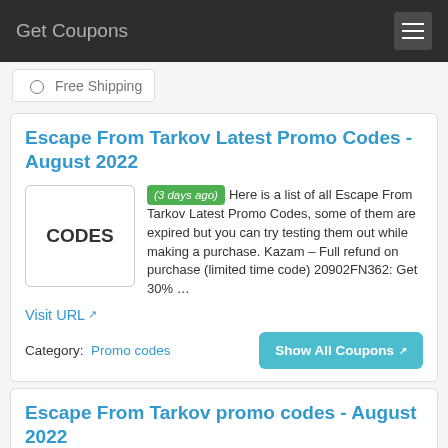Get Coupons
Free Shipping
Escape From Tarkov Latest Promo Codes - August 2022
[Figure (other): CODES placeholder image box]
(3 days ago) Here is a list of all Escape From Tarkov Latest Promo Codes, some of them are expired but you can try testing them out while making a purchase. Kazam – Full refund on purchase (limited time code) 20902FN362: Get 30% …
Visit URL
Category: Promo codes
Show All Coupons
Escape From Tarkov promo codes - August 2022